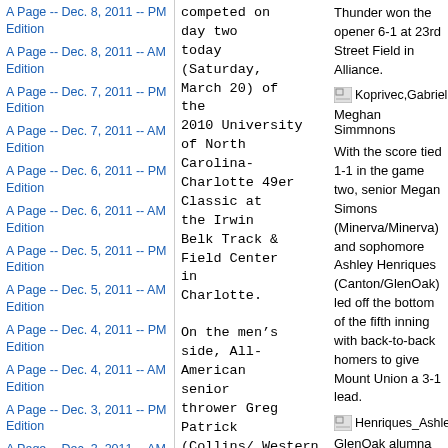A Page -- Dec. 8, 2011 -- PM Edition
A Page -- Dec. 8, 2011 -- AM Edition
A Page -- Dec. 7, 2011 -- PM Edition
A Page -- Dec. 7, 2011 -- AM Edition
A Page -- Dec. 6, 2011 -- PM Edition
A Page -- Dec. 6, 2011 -- AM Edition
A Page -- Dec. 5, 2011 -- PM Edition
A Page -- Dec. 5, 2011 -- AM Edition
A Page -- Dec. 4, 2011 -- PM Edition
A Page -- Dec. 4, 2011 -- AM Edition
A Page -- Dec. 3, 2011 -- PM Edition
A Page -- Dec. 3, 2011 -- AM Edition
competed on day two today (Saturday, March 20) of the 2010 University of North Carolina-Charlotte 49er Classic at the Irwin Belk Track & Field Center in Charlotte.
On the men’s side, All-American senior thrower Greg Patrick (Collins/ Western Reserve) set a new school-
Thunder won the opener 6-1 at 23rd Street Field in Alliance.
[Figure (photo): Broken image placeholder for Koprivec,Gabrielle.jpg]
Koprivec,Gabrielle.jpg
Meghan Simmnons
With the score tied 1-1 in the game two, senior Megan Simons (Minerva/Minerva) and sophomore Ashley Henriques (Canton/GlenOak) led off the bottom of the fifth inning with back-to-back homers to give Mount Union a 3-1 lead.
[Figure (photo): Broken image placeholder for Henriques_Ashley.JPG]
Henriques_Ashley.JPG
GlenOak alumna Ashley Henriques